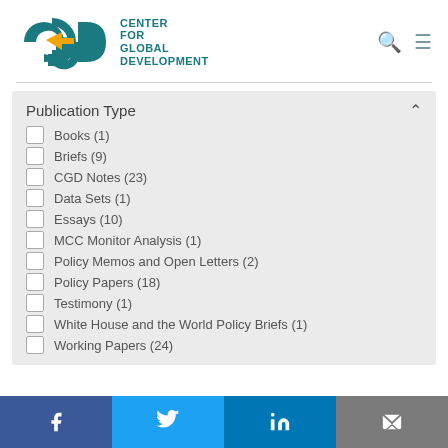[Figure (logo): CGD Center for Global Development logo with teal letters and gold arrow]
Publication Type
Books (1)
Briefs (9)
CGD Notes (23)
Data Sets (1)
Essays (10)
MCC Monitor Analysis (1)
Policy Memos and Open Letters (2)
Policy Papers (18)
Testimony (1)
White House and the World Policy Briefs (1)
Working Papers (24)
f  Twitter  in  Email